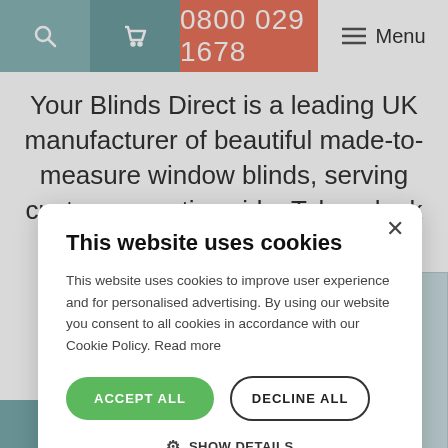0800 029 1678 | Menu
Your Blinds Direct is a leading UK manufacturer of beautiful made-to-measure window blinds, serving customers nationwide. Take a look at our website here for a huge selection of blinds styles,
This website uses cookies
This website uses cookies to improve user experience and for personalised advertising. By using our website you consent to all cookies in accordance with our Cookie Policy. Read more
ACCEPT ALL
DECLINE ALL
⚙ SHOW DETAILS
POWERED BY COOKIESCRIPT